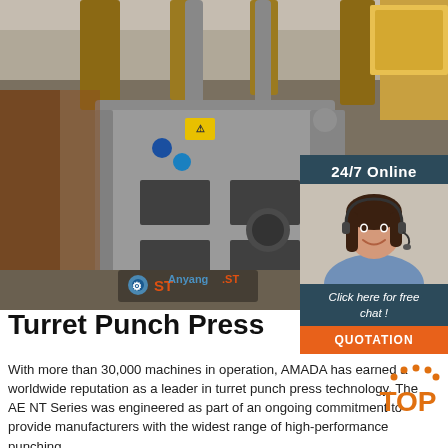[Figure (photo): A large industrial turret punch press machine in grey, photographed in a factory setting. The Anyang.ST logo is visible in the lower left of the photo.]
[Figure (photo): Sidebar panel with '24/7 Online' header, a smiling female customer service representative wearing a headset, 'Click here for free chat!' text, and an orange 'QUOTATION' button.]
Turret Punch Press
With more than 30,000 machines in operation, AMADA has earned a worldwide reputation as a leader in turret punch press technology. The AE NT Series was engineered as part of an ongoing commitment to provide manufacturers with the widest range of high-performance punching.
[Figure (logo): Orange and dark grey 'TOP' badge with arc dots above]